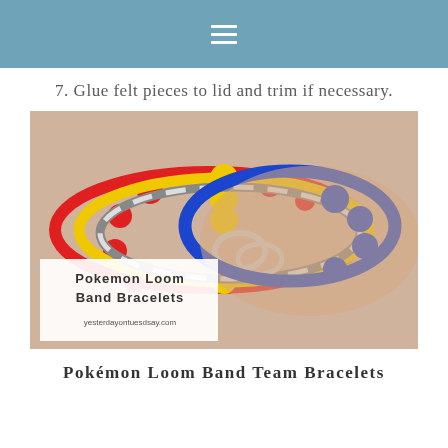☰
7. Glue felt pieces to lid and trim if necessary.
[Figure (photo): A wrist wearing multiple colorful loom band bracelets (red, yellow, black/white, and blue) with beads. An overlay label reads 'Pokemon Loom Band Bracelets yesterdayontuesdsay.com']
Pokémon Loom Band Team Bracelets